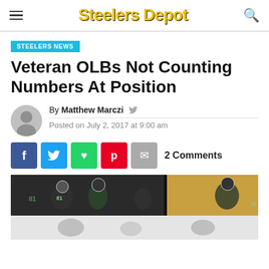Steelers Depot
STEELERS NEWS
Veteran OLBs Not Counting Numbers At Position
By Matthew Marczi
Posted on July 2, 2017 at 9:00 am
2 Comments
[Figure (photo): Football players on field, Carolina Panthers players visible with numbers 81 and 79, split scene showing game action and sideline]